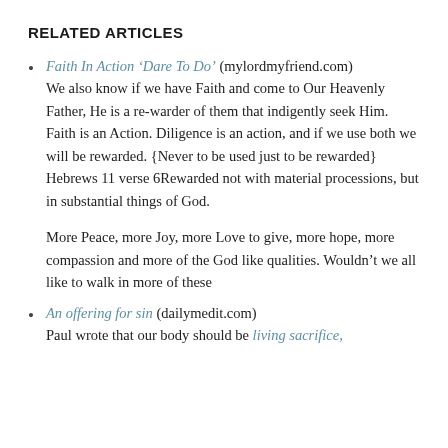RELATED ARTICLES
Faith In Action ‘Dare To Do’ (mylordmyfriend.com) We also know if we have Faith and come to Our Heavenly Father, He is a re-warder of them that indigently seek Him. Faith is an Action. Diligence is an action, and if we use both we will be rewarded. {Never to be used just to be rewarded} Hebrews 11 verse 6Rewarded not with material processions, but in substantial things of God.
More Peace, more Joy, more Love to give, more hope, more compassion and more of the God like qualities. Wouldn’t we all like to walk in more of these
An offering for sin (dailymedit.com) Paul wrote that our body should be living sacrifice,